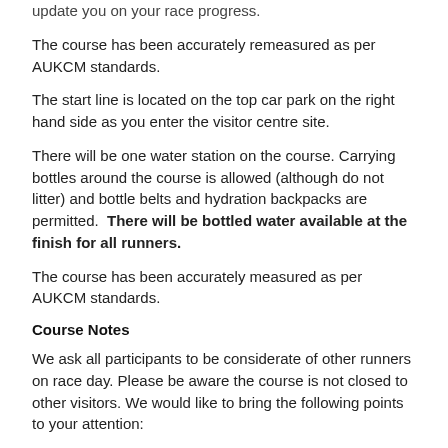update you on your race progress.
The course has been accurately remeasured as per AUKCM standards.
The start line is located on the top car park on the right hand side as you enter the visitor centre site.
There will be one water station on the course. Carrying bottles around the course is allowed (although do not litter) and bottle belts and hydration backpacks are permitted.  There will be bottled water available at the finish for all runners.
The course has been accurately measured as per AUKCM standards.
Course Notes
We ask all participants to be considerate of other runners on race day. Please be aware the course is not closed to other visitors. We would like to bring the following points to your attention:
At 5.1 miles, there is bollard as you enter onto Oldfield lane and another as you exit it back onto the trail path. There will be